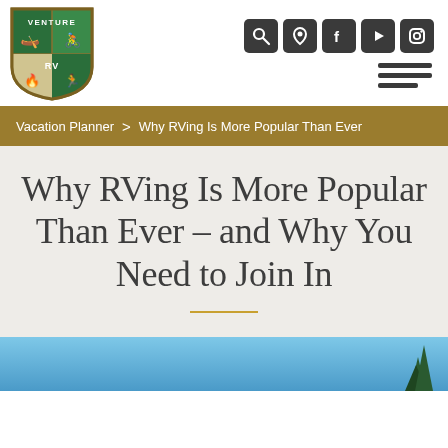[Figure (logo): Venture RV shield logo with outdoor activity icons (kayaking, biking, camping, hiking) in green and beige quarters]
[Figure (infographic): Social media icon buttons: search, location pin, Facebook, YouTube, Instagram — dark rounded square icons in header]
Vacation Planner > Why RVing Is More Popular Than Ever
Why RVing Is More Popular Than Ever – and Why You Need to Join In
[Figure (photo): Partial photo at bottom of page showing blue sky and tree tops]